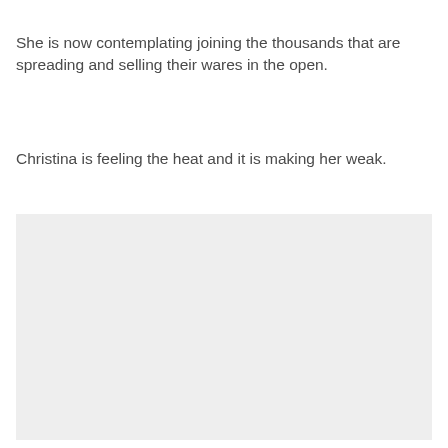She is now contemplating joining the thousands that are spreading and selling their wares in the open.
Christina is feeling the heat and it is making her weak.
[Figure (other): A large light gray rectangular placeholder image area occupying the lower portion of the page.]